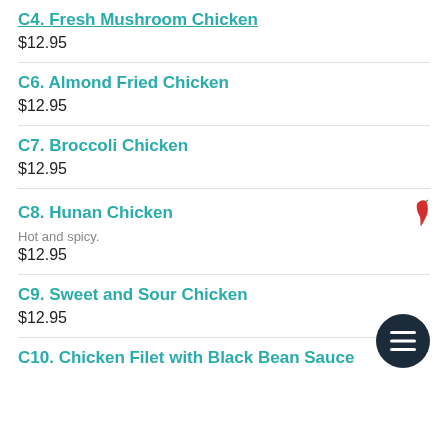C4. Fresh Mushroom Chicken
$12.95
C6. Almond Fried Chicken
$12.95
C7. Broccoli Chicken
$12.95
C8. Hunan Chicken
Hot and spicy.
$12.95
C9. Sweet and Sour Chicken
$12.95
C10. Chicken Filet with Black Bean Sauce